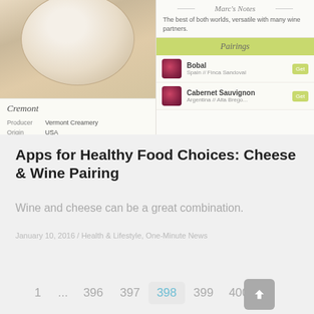[Figure (screenshot): Screenshot of a cheese and wine pairing app showing a cheese entry (Cremont) with details: Producer: Vermont Creamery, Origin: USA / Vermont, Milk: Cow / Goat. Right panel shows Marc's Notes and Pairings section with Bobal (Spain // Finca Sandoval) and Cabernet Sauvignon entries.]
Apps for Healthy Food Choices: Cheese & Wine Pairing
Wine and cheese can be a great combination.
January 10, 2016 / Health & Lifestyle, One-Minute News
1 ... 396 397 398 399 400